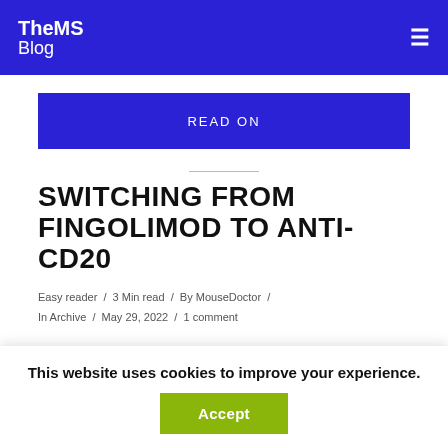TheMS Blog
READ ON
SWITCHING FROM FINGOLIMOD TO ANTI-CD20
Easy reader / 3 Min read / By MouseDoctor / In Archive / May 29, 2022 / 1 comment
This website uses cookies to improve your experience.